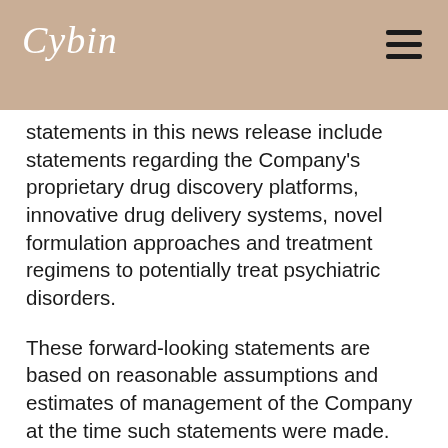Cybin
statements in this news release include statements regarding the Company's proprietary drug discovery platforms, innovative drug delivery systems, novel formulation approaches and treatment regimens to potentially treat psychiatric disorders.
These forward-looking statements are based on reasonable assumptions and estimates of management of the Company at the time such statements were made. Actual future results may differ materially as forward-looking statements involve known and unknown risks, uncertainties, and other factors which may cause the actual results, performance, or achievements of the Company to materially differ from any future results, performance, or achievements expressed or implied